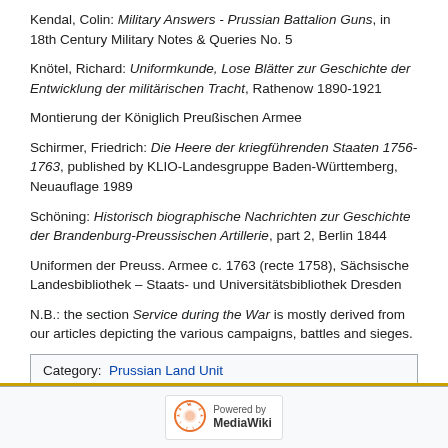Kendal, Colin: Military Answers - Prussian Battalion Guns, in 18th Century Military Notes & Queries No. 5
Knötel, Richard: Uniformkunde, Lose Blätter zur Geschichte der Entwicklung der militärischen Tracht, Rathenow 1890-1921
Montierung der Königlich Preußischen Armee
Schirmer, Friedrich: Die Heere der kriegführenden Staaten 1756-1763, published by KLIO-Landesgruppe Baden-Württemberg, Neuauflage 1989
Schöning: Historisch biographische Nachrichten zur Geschichte der Brandenburg-Preussischen Artillerie, part 2, Berlin 1844
Uniformen der Preuss. Armee c. 1763 (recte 1758), Sächsische Landesbibliothek – Staats- und Universitätsbibliothek Dresden
N.B.: the section Service during the War is mostly derived from our articles depicting the various campaigns, battles and sieges.
Category:  Prussian Land Unit
[Figure (other): Scroll-to-top button with upward triangle arrow, yellow border]
Powered by MediaWiki